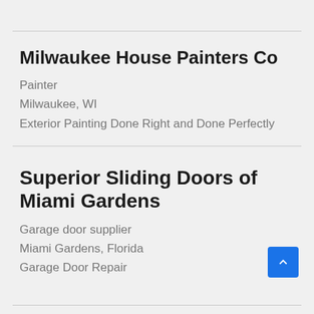Milwaukee House Painters Co
Painter
Milwaukee, WI
Exterior Painting Done Right and Done Perfectly
Superior Sliding Doors of Miami Gardens
Garage door supplier
Miami Gardens, Florida
Garage Door Repair